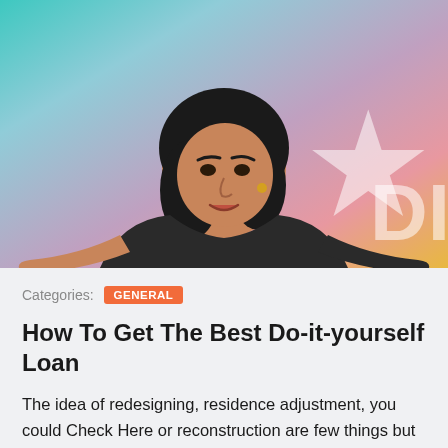[Figure (photo): A woman with dark hair wearing a dark top, speaking or presenting with hands open, against a colorful teal, pink, and yellow background with a star and 'DL' letters visible.]
Categories: GENERAL
How To Get The Best Do-it-yourself Loan
The idea of redesigning, residence adjustment, you could Check Here or reconstruction are few things but the